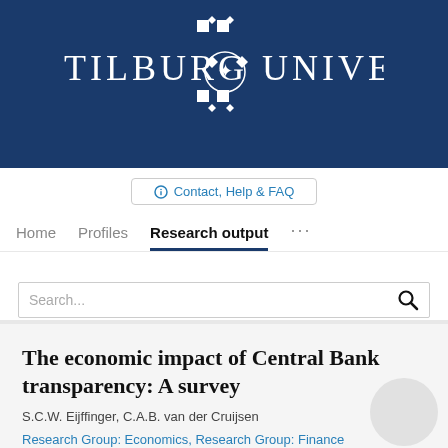[Figure (logo): Tilburg University logo with white text and emblem on dark navy blue background]
Contact, Help & FAQ
Home   Profiles   Research output   ...
Search...
The economic impact of Central Bank transparency: A survey
S.C.W. Eijffinger, C.A.B. van der Cruijsen
Research Group: Economics, Research Group: Finance